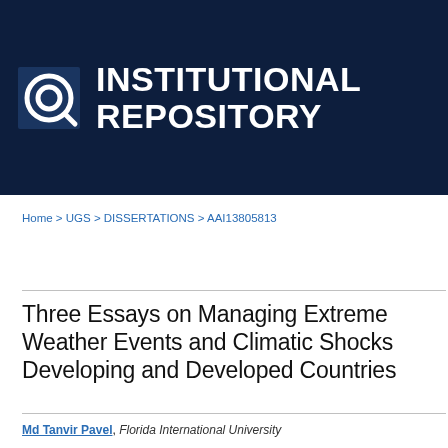[Figure (logo): Institutional Repository logo: dark navy banner with a circular target/search icon and bold white text reading INSTITUTIONAL REPOSITORY]
Home > UGS > DISSERTATIONS > AAI13805813
Three Essays on Managing Extreme Weather Events and Climatic Shocks Developing and Developed Countries
Md Tanvir Pavel, Florida International University